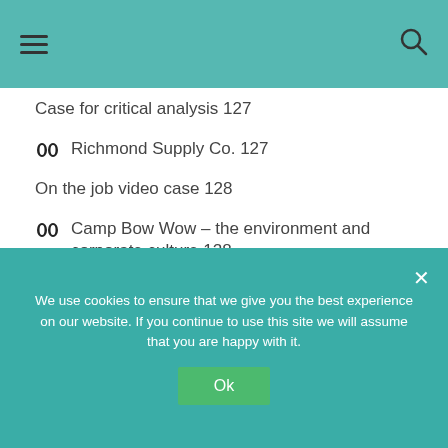≡  🔍
Case for critical analysis 127
❯❯ Richmond Supply Co. 127
On the job video case 128
❯❯ Camp Bow Wow – the environment and corporate culture 128
CHAPTER CASE STUDIES
We use cookies to ensure that we give you the best experience on our website. If you continue to use this site we will assume that you are happy with it.
Ok